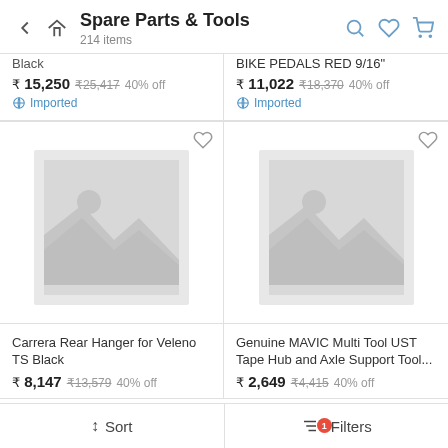Spare Parts & Tools — 214 items
Black
₹ 15,250  ₹25,417  40% off
Imported
BIKE PEDALS RED 9/16"
₹ 11,022  ₹18,370  40% off
Imported
[Figure (photo): Product image placeholder for Carrera Rear Hanger for Veleno TS Black]
[Figure (photo): Product image placeholder for Genuine MAVIC Multi Tool UST Tape Hub and Axle Support Tool]
Carrera Rear Hanger for Veleno TS Black
₹ 8,147  ₹13,579  40% off
Genuine MAVIC Multi Tool UST Tape Hub and Axle Support Tool...
₹ 2,649  ₹4,415  40% off
↕ Sort    Filters (1)